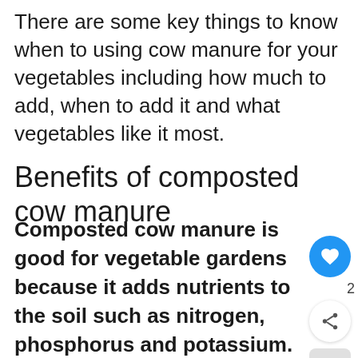There are some key things to know when to using cow manure for your vegetables including how much to add, when to add it and what vegetables like it most.
Benefits of composted cow manure
Composted cow manure is good for vegetable gardens because it adds nutrients to the soil such as nitrogen, phosphorus and potassium. Cow manure is lower in nitrogen than some other manures which makes it a gentle soil conditioner and great for your vegetable garden. When you mix it through your soil